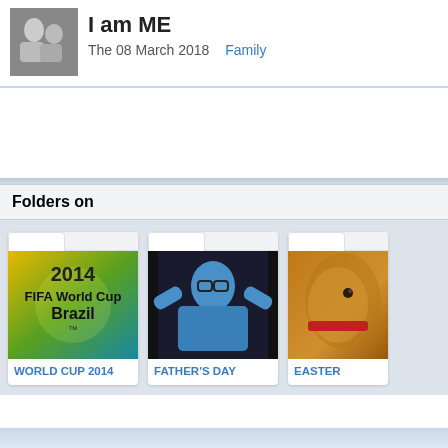[Figure (photo): Small black and white avatar photo of two people]
I am ME
The 08 March 2018   Family
Folders on
[Figure (photo): FIFA 2014 World Cup Brazil logo on colorful background]
WORLD CUP 2014
[Figure (photo): Man in blue shirt holding trophies on Father's Day]
FATHER'S DAY
[Figure (photo): Golden Easter chocolate bunny or egg close-up]
EASTER